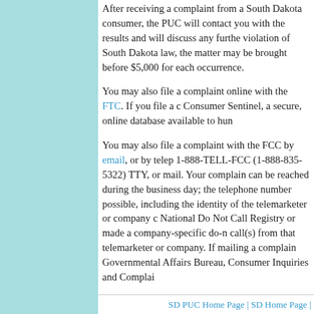After receiving a complaint from a South Dakota consumer, the PUC will contact you with the results and will discuss any further action. If you are found in violation of South Dakota law, the matter may be brought before a court for up to $5,000 for each occurrence.
You may also file a complaint online with the FTC. If you file a complaint, it will be entered into Consumer Sentinel, a secure, online database available to hundreds of law enforcement agencies.
You may also file a complaint with the FCC by email, or by telephone at 1-800-CALL-FCC (1-800-225-5322) Voice or 1-888-TELL-FCC (1-888-835-5322) TTY, or mail. Your complaint should include the number that can be reached during the business day; the telephone number that received the call, and as much information as possible, including the identity of the telemarketer or company calling, and whether you are on the National Do Not Call Registry or made a company-specific do-not-call request and still received call(s) from that telemarketer or company. If mailing a complaint, send it to: FCC, Consumer and Governmental Affairs Bureau, Consumer Inquiries and Complaints Division.
While the FTC and FCC do not resolve individual consumer problems, your complaint could help build a case against a telemarketer and could lead to law enforcement action.
Regarding personal information: The only personal identifying information we will store is the phone number you register. Your email address will be stored separately and will be deleted from our system once the FTC sends a reply message to you. Law enforcement officials may access your information.
If your phone number is removed from the National Do Not Call Registry, your information will be available to law enforcement officials for two years from the date of removal. Your phone number will be deleted from the database when you have asked for it to be deleted. The PUC will use telephone information only for purposes related to the Registry.
SD PUC Home Page | SD Home Page |